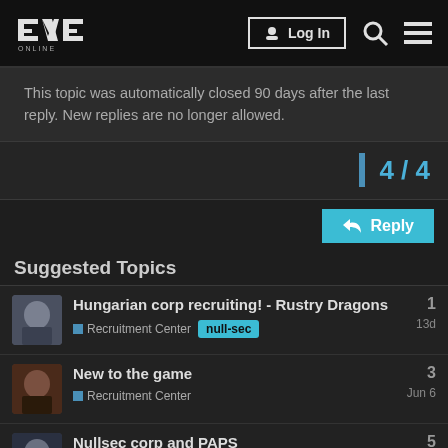EVE ONLINE — Log In
This topic was automatically closed 90 days after the last reply. New replies are no longer allowed.
4 / 4
Reply
Suggested Topics
Hungarian corp recruiting! - Rustry Dragons | Recruitment Center | null-sec | 13d | 1
New to the game | Recruitment Center | Jun 6 | 3
Nullsec corp and PAPS | Recruitment Center | Jun 8 | 5